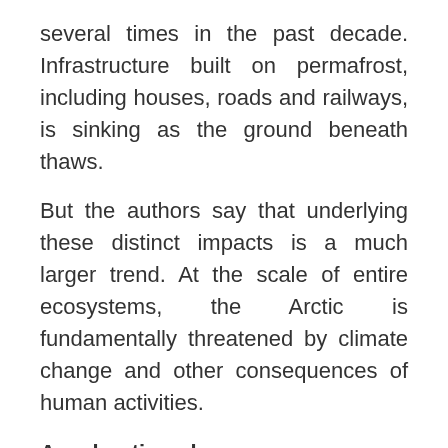several times in the past decade. Infrastructure built on permafrost, including houses, roads and railways, is sinking as the ground beneath thaws.
But the authors say that underlying these distinct impacts is a much larger trend. At the scale of entire ecosystems, the Arctic is fundamentally threatened by climate change and other consequences of human activities.
Accelerating change
Change – often rapid – is the norm in the Arctic, they write. But environmental, ecological and social changes are happening faster than ever, and accelerating. They are also more extreme, well beyond what has been seen before. And while some changes are gradual, others, such as the collapse of